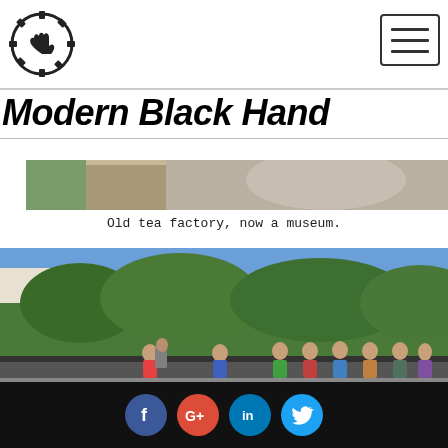[Figure (logo): Gear/cog icon with hand silhouette inside, black on white, circular logo]
[Figure (other): Hamburger menu button - three horizontal lines in a bordered rectangle]
Modern Black Hand
[Figure (photo): Partial photo strip showing outdoor scene with figures]
Old tea factory, now a museum.
[Figure (photo): Outdoor photo of people sitting along a road/sidewalk against a hedge, with buildings and trees in background, taken in Japan]
Social media icons: Facebook, Google+, LinkedIn, Twitter